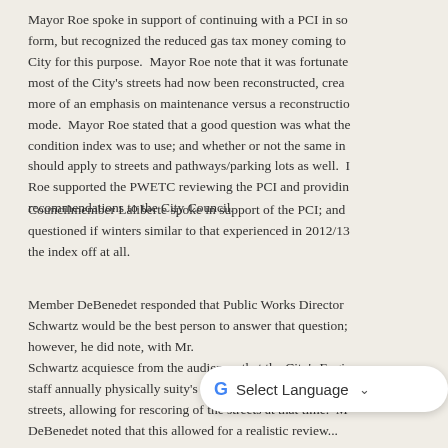Mayor Roe spoke in support of continuing with a PCI in so form, but recognized the reduced gas tax money coming to City for this purpose. Mayor Roe note that it was fortunate most of the City's streets had now been reconstructed, crea more of an emphasis on maintenance versus a reconstructio mode. Mayor Roe stated that a good question was what the condition index was to use; and whether or not the same in should apply to streets and pathways/parking lots as well. Roe supported the PWETC reviewing the PCI and providin recommendations to the City Council.
Councilmember Laliberte spoke in support of the PCI; and questioned if winters similar to that experienced in 2012/13 the index off at all.
Member DeBenedet responded that Public Works Director Schwartz would be the best person to answer that question; however, he did note, with Mr. Schwartz acquiesce from the audience, that the City's Engi staff annually physically su ity's streets, allowing for rescoring of the streets at that time. M DeBenedet noted that this allowed for a realistic review...